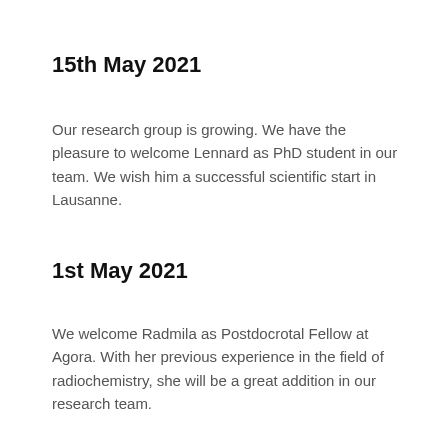15th May 2021
Our research group is growing. We have the pleasure to welcome Lennard as PhD student in our team. We wish him a successful scientific start in Lausanne.
1st May 2021
We welcome Radmila as Postdocrotal Fellow at Agora. With her previous experience in the field of radiochemistry, she will be a great addition in our research team.